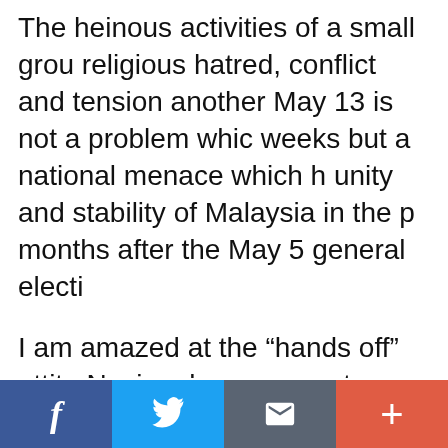The heinous activities of a small grou religious hatred, conflict and tension another May 13 is not a problem whic weeks but a national menace which h unity and stability of Malaysia in the p months after the May 5 general electi
I am amazed at the “hands off” attitu Nasional government, which seem to to destabilise the country through inc hatred, conflict and tension, a blank c
[Figure (infographic): Social media sharing bar with four buttons: Facebook (blue), Twitter (light blue), Email/envelope (dark grey), and More/plus (red-orange)]